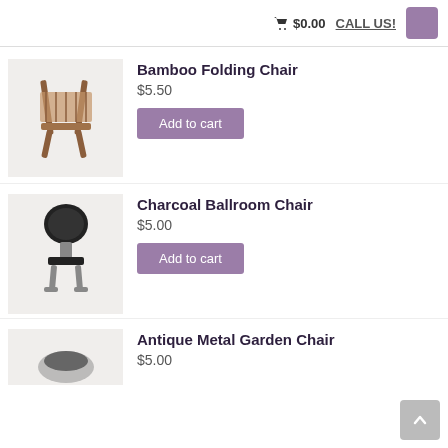🛒 $0.00   CALL US!
Bamboo Folding Chair
$5.50
Add to cart
Charcoal Ballroom Chair
$5.00
Add to cart
Antique Metal Garden Chair
$5.00